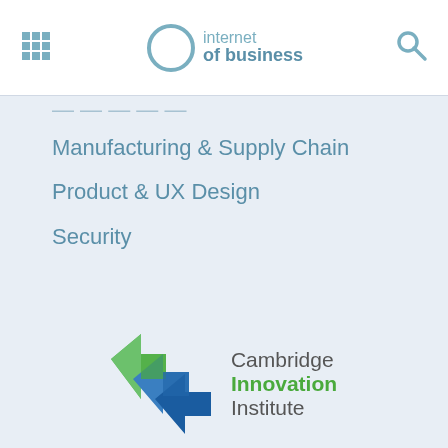internet of business
Manufacturing & Supply Chain
Product & UX Design
Security
Guest Opinions
Analysis
Research
Videos
[Figure (logo): Cambridge Innovation Institute logo with green and blue interlocking arrow shapes and text]